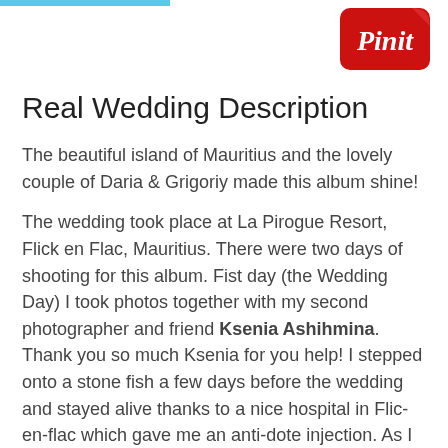[Figure (logo): Pinterest 'Pin it' button — red rounded rectangle with white italic script text 'Pinit' and a decorative curl in top-right corner]
Real Wedding Description
The beautiful island of Mauritius and the lovely couple of Daria & Grigoriy made this album shine!
The wedding took place at La Pirogue Resort, Flick en Flac, Mauritius. There were two days of shooting for this album. Fist day (the Wedding Day) I took photos together with my second photographer and friend Ksenia Ashihmina. Thank you so much Ksenia for you help! I stepped onto a stone fish a few days before the wedding and stayed alive thanks to a nice hospital in Flic-en-flac which gave me an anti-dote injection. As I was suffering with my injured and swollen foot, Ksenia was really helpful to shoot with the second camera (Nikon). So you can now enjoy how Canon and Nikon shots live together in one album!
The second day was more laid back and shot in one...